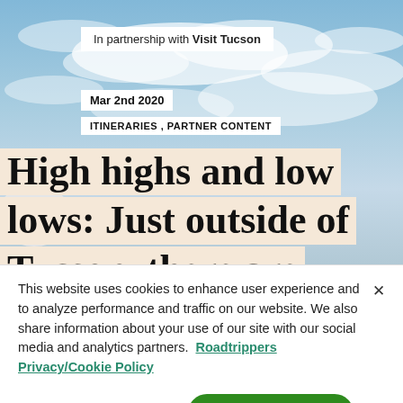[Figure (photo): Blue sky with clouds background image with a partial view of a white dome structure on the left side]
In partnership with Visit Tucson
Mar 2nd 2020
ITINERARIES , PARTNER CONTENT
High highs and low lows: Just outside of Tucson, there are
This website uses cookies to enhance user experience and to analyze performance and traffic on our website. We also share information about your use of our site with our social media and analytics partners. Roadtrippers Privacy/Cookie Policy
Cookie Preferences
Accept Cookies